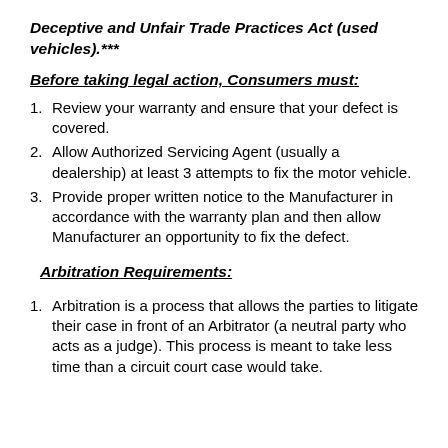Deceptive and Unfair Trade Practices Act (used vehicles).***
Before taking legal action, Consumers must:
Review your warranty and ensure that your defect is covered.
Allow Authorized Servicing Agent (usually a dealership) at least 3 attempts to fix the motor vehicle.
Provide proper written notice to the Manufacturer in accordance with the warranty plan and then allow Manufacturer an opportunity to fix the defect.
Arbitration Requirements:
Arbitration is a process that allows the parties to litigate their case in front of an Arbitrator (a neutral party who acts as a judge). This process is meant to take less time than a circuit court case would take.